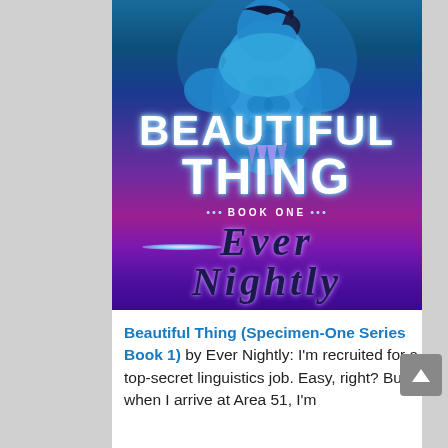[Figure (illustration): Book cover for 'Beautiful Thing (Specimen-One Series Book 1)' by Ever Nightly. Features a blue-skinned muscular male figure with dark hair and tattoos against a purple/blue cosmic background. Title 'BEAUTIFUL THING' in large white cracked letters. 'BOOK ONE' in smaller text with dots. Author name 'EVER NIGHTLY' in large dark italic serif letters at the bottom.]
Beautiful Thing (Specimen-One Series Book 1) by Ever Nightly: I'm recruited for a top-secret linguistics job. Easy, right? But when I arrive at Area 51, I'm